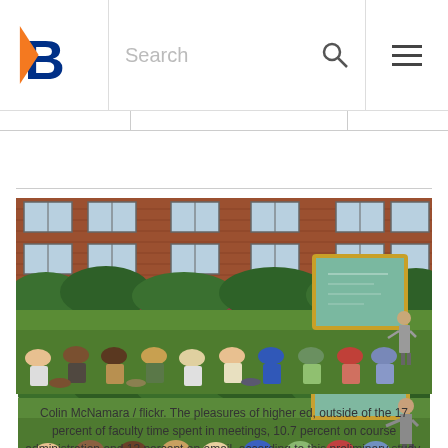Search
[Figure (photo): Outdoor university class with students sitting on grass in front of brick building, instructor standing at a chalkboard on the right side.]
Colin McNamara / flickr. The pleasures of higher ed, outside of the 17 percent of faculty time spent in meetings, 10.7 percent on course administration and 13 percent on email, according to this preliminary study.